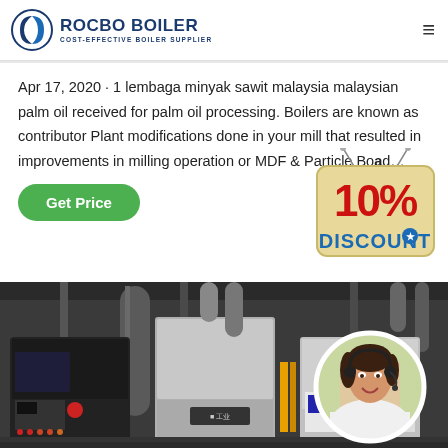[Figure (logo): Rocbo Boiler logo with blue crescent circle icon, text 'ROCBO BOILER' in bold dark blue, subtitle 'COST-EFFECTIVE BOILER SUPPLIER']
Apr 17, 2020 · 1 lembaga minyak sawit malaysia malaysian palm oil received for palm oil processing. Boilers are known as contributor Plant modifications done in your mill that resulted in improvements in milling operation or MDF & Particle Bo⁉d…
[Figure (illustration): Green 'Get Price' button and a hanging '10% DISCOUNT' sign badge in red and blue on tan background]
[Figure (photo): Industrial boiler room with large metal cylindrical boilers, pipes, control panels, and gauges. On the right side, a circular inset photo of a smiling woman wearing a headset (customer service representative).]